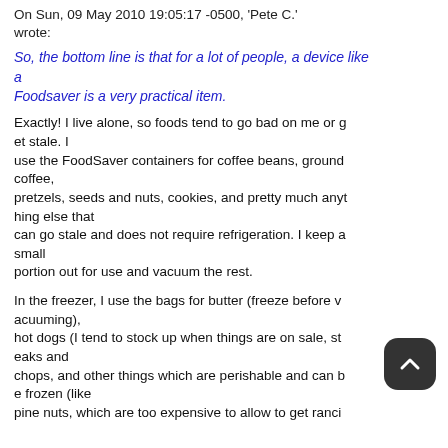On Sun, 09 May 2010 19:05:17 -0500, 'Pete C.' wrote:
So, the bottom line is that for a lot of people, a device like a Foodsaver is a very practical item.
Exactly! I live alone, so foods tend to go bad on me or get stale. I use the FoodSaver containers for coffee beans, ground coffee, pretzels, seeds and nuts, cookies, and pretty much anything else that can go stale and does not require refrigeration. I keep a small portion out for use and vacuum the rest.
In the freezer, I use the bags for butter (freeze before vacuuming), hot dogs (I tend to stock up when things are on sale), steaks and chops, and other things which are perishable and can be frozen (like pine nuts, which are too expensive to allow to get ranci